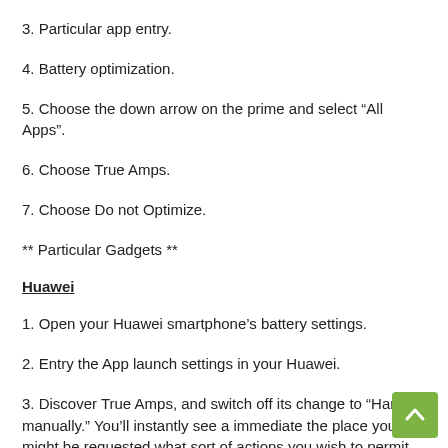3. Particular app entry.
4. Battery optimization.
5. Choose the down arrow on the prime and select “All Apps”.
6. Choose True Amps.
7. Choose Do not Optimize.
** Particular Gadgets **
Huawei
1. Open your Huawei smartphone’s battery settings.
2. Entry the App launch settings in your Huawei.
3. Discover True Amps, and switch off its change to “Handle manually.” You’ll instantly see a immediate the place you might be requested what sort of actions you wish to permit the app to carry